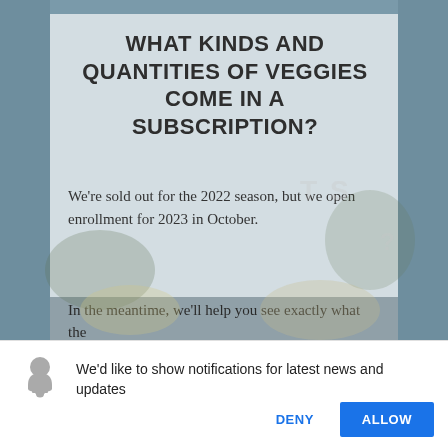[Figure (screenshot): A webpage screenshot showing a vegetable subscription FAQ page with a blurred/faded background of vegetables in muted teal tones. A semi-transparent white card overlay contains bold uppercase text asking about veggie subscriptions, followed by body text about sold-out status and 2023 enrollment.]
WHAT KINDS AND QUANTITIES OF VEGGIES COME IN A SUBSCRIPTION?
We're sold out for the 2022 season, but we open enrollment for 2023 in October.
In the meantime, we'll help you see exactly what the
We'd like to show notifications for latest news and updates